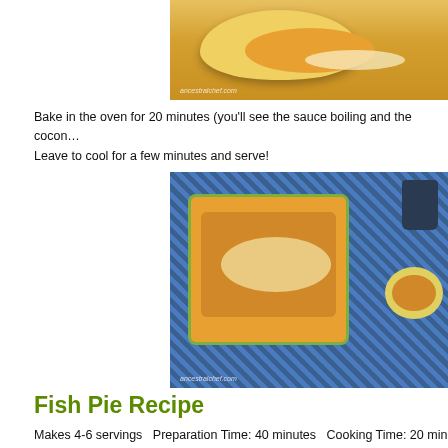[Figure (photo): Yellow baking dish with orange fish pie filling topped with shredded coconut, photographed from above on a light background. Watermark: ancestralchef.com]
Bake in the oven for 20 minutes (you'll see the sauce boiling and the cocon... Leave to cool for a few minutes and serve!
[Figure (photo): Square blue-green baking dish with orange fish pie filling topped with shredded coconut on a blue wicker placemat, with a small round yellow dish and a dark jar in the background. Watermark: ancestralchef.com]
Fish Pie Recipe
Makes 4-6 servings  Preparation Time: 40 minutes  Cooking Time: 20 minut...